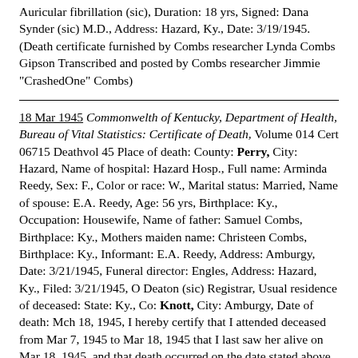Auricular fibrillation (sic), Duration: 18 yrs, Signed: Dana Synder (sic) M.D., Address: Hazard, Ky., Date: 3/19/1945. (Death certificate furnished by Combs researcher Lynda Combs Gipson Transcribed and posted by Combs researcher Jimmie "CrashedOne" Combs)
18 Mar 1945 Commonwelth of Kentucky, Department of Health, Bureau of Vital Statistics: Certificate of Death, Volume 014 Cert 06715 Deathvol 45 Place of death: County: Perry, City: Hazard, Name of hospital: Hazard Hosp., Full name: Arminda Reedy, Sex: F., Color or race: W., Marital status: Married, Name of spouse: E.A. Reedy, Age: 56 yrs, Birthplace: Ky., Occupation: Housewife, Name of father: Samuel Combs, Birthplace: Ky., Mothers maiden name: Christeen Combs, Birthplace: Ky., Informant: E.A. Reedy, Address: Amburgy, Date: 3/21/1945, Funeral director: Engles, Address: Hazard, Ky., Filed: 3/21/1945, O Deaton (sic) Registrar, Usual residence of deceased: State: Ky., Co: Knott, City: Amburgy, Date of death: Mch 18, 1945, I hereby certify that I attended deceased from Mar 7, 1945 to Mar 18, 1945 that I last saw her alive on Mar 18, 1945, and that death occurred on the date stated above at 6:00 P.M., Cause of death: Coronary oclusion, Due to: Hypertensive unreadable) heart disease, (rest unreadable